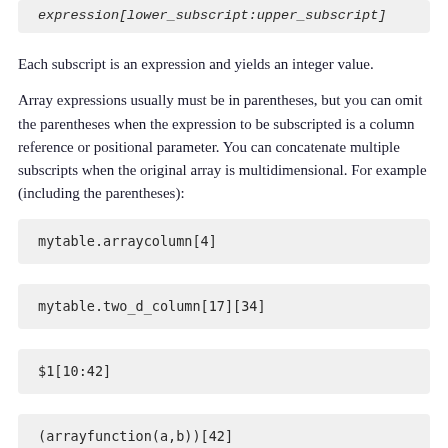expression[lower_subscript:upper_subscript]
Each subscript is an expression and yields an integer value.
Array expressions usually must be in parentheses, but you can omit the parentheses when the expression to be subscripted is a column reference or positional parameter. You can concatenate multiple subscripts when the original array is multidimensional. For example (including the parentheses):
mytable.arraycolumn[4]
mytable.two_d_column[17][34]
$1[10:42]
(arrayfunction(a,b))[42]